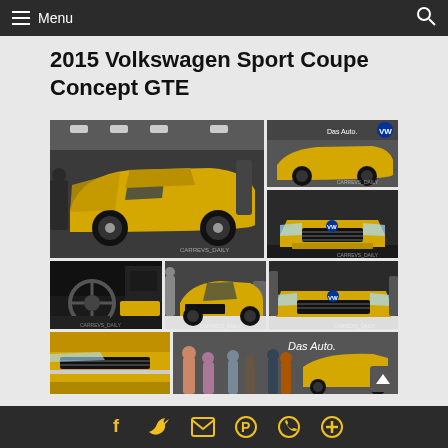Menu
2015 Volkswagen Sport Coupe Concept GTE
[Figure (photo): Photo collage of the 2015 Volkswagen Sport Coupe Concept GTE in yellow, shown at an auto show from multiple angles including side exterior, front, interior, and crowd shots]
Social sharing icons: Facebook, Twitter, Email, Pinterest, WhatsApp, More